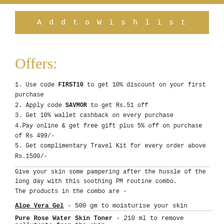Add to Wishlist
Offers:
1. Use code FIRST10 to get 10% discount on your first purchase
2. Apply code SAVMOR to get Rs.51 off
3. Get 10% wallet cashback on every purchase
4.Pay online & get free gift plus 5% off on purchase of Rs 499/-
5. Get complimentary Travel Kit for every order above Rs.1500/-
Give your skin some pampering after the hussle of the long day with this soothing PM routine combo.
The products in the combo are -
Aloe Vera Gel - 500 gm to moisturise your skin
Pure Rose Water Skin Toner - 210 ml to remove pollutants from the skin